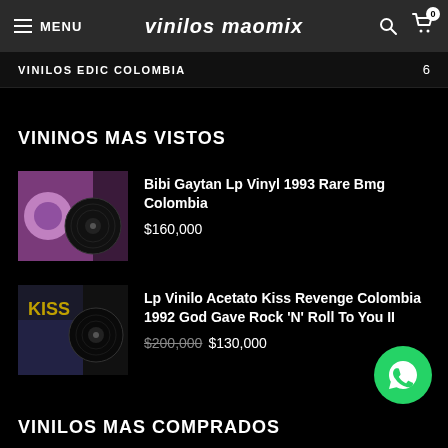MENU | vinilos maomix
VINILOS EDIC COLOMBIA 6
VININOS MAS VISTOS
Bibi Gaytan Lp Vinyl 1993 Rare Bmg Colombia
$160,000
Lp Vinilo Acetato Kiss Revenge Colombia 1992 God Gave Rock 'N' Roll To You II
$200,000 $130,000
VINILOS MAS COMPRADOS